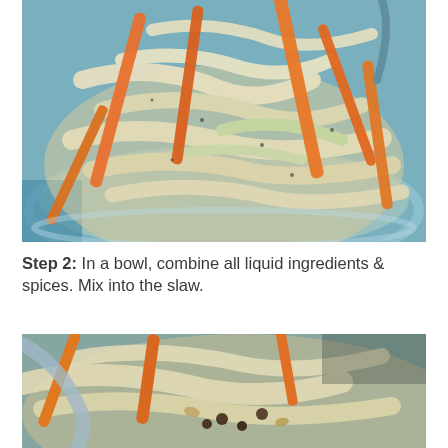[Figure (photo): Close-up photo of coleslaw in a glass bowl — shredded pale cabbage and orange carrot sticks coated in a creamy dressing, viewed from above at an angle.]
Step 2: In a bowl, combine all liquid ingredients & spices. Mix into the slaw.
[Figure (photo): Partial close-up photo of the same coleslaw bowl from a different angle, showing cabbage, carrots, raisins, and nuts with creamy dressing, with a spoon visible.]